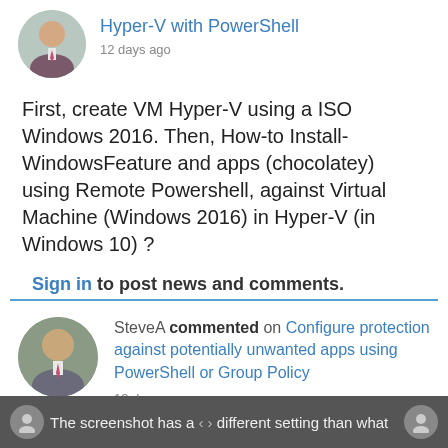[Figure (photo): Circular avatar of a man in a suit at the top of the page, partially visible]
Hyper-V with PowerShell
12 days ago
First, create VM Hyper-V using a ISO Windows 2016. Then, How-to Install-WindowsFeature and apps (chocolatey) using Remote Powershell, against Virtual Machine (Windows 2016) in Hyper-V (in Windows 10) ?
Sign in to post news and comments.
[Figure (photo): Circular avatar of a bald man in a suit (SteveA)]
SteveA commented on Configure protection against potentially unwanted apps using PowerShell or Group Policy
13 days ago
[Figure (other): Scroll to top button (chevron up arrow) in gray]
The screenshot has a different setting than what